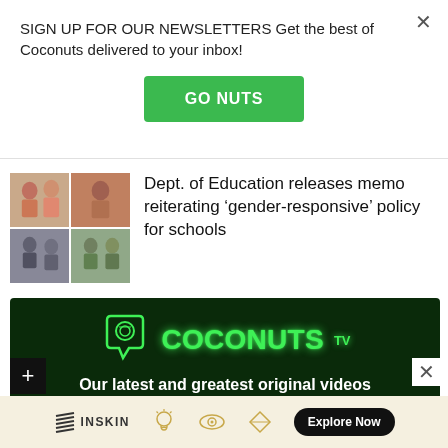SIGN UP FOR OUR NEWSLETTERS Get the best of Coconuts delivered to your inbox!
GO NUTS
Dept. of Education releases memo reiterating ‘gender-responsive’ policy for schools
[Figure (photo): Grid of four photos showing people with different hairstyles]
[Figure (screenshot): Coconuts TV banner with neon green logo and text: Our latest and greatest original videos]
Our latest and greatest original videos
INSKIN   [icons]   Explore Now